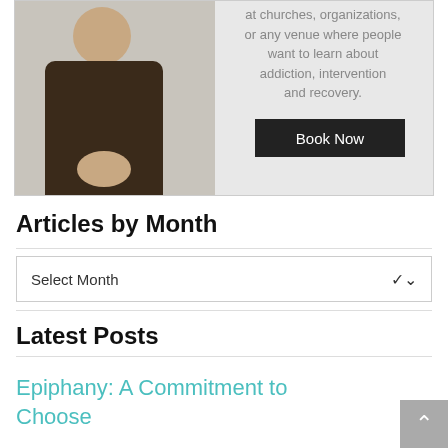[Figure (photo): A man wearing a dark quilted vest over a plaid shirt, smiling with hands clasped, on a light gray background. Text overlay reads: 'at churches, organizations, or any venue where people want to learn about addiction, intervention and recovery.' with a dark 'Book Now' button.]
Articles by Month
[Figure (screenshot): A dropdown select widget labeled 'Select Month' with a chevron arrow on the right.]
Latest Posts
Epiphany: A Commitment to Choose